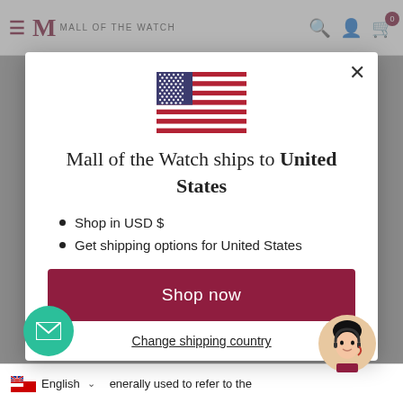Mall of the Watch
[Figure (screenshot): Modal dialog on Mall of the Watch website showing US flag, shipping message, bullet points, Shop now button, and Change shipping country link]
Mall of the Watch ships to United States
Shop in USD $
Get shipping options for United States
Shop now
Change shipping country
English  enerally used to refer to the